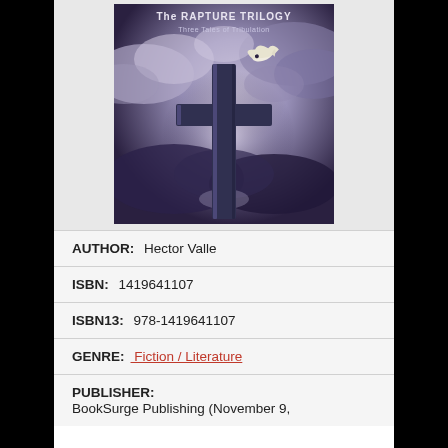[Figure (photo): Book cover for 'The Rapture Trilogy: Three Tales of Tribulation' showing a large cross against a dramatic stormy sky with a dove flying above it. The title text appears at the top.]
AUTHOR:  Hector Valle
ISBN:  1419641107
ISBN13:  978-1419641107
GENRE:  Fiction / Literature
PUBLISHER:
BookSurge Publishing (November 9,